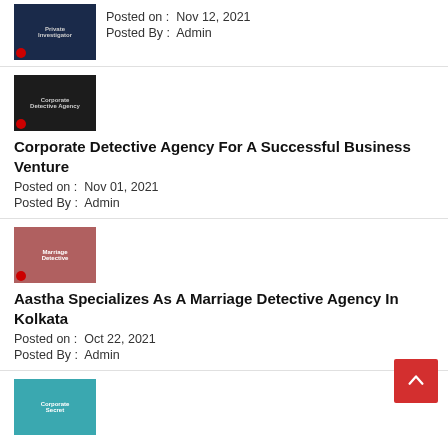[Figure (photo): Thumbnail image for 'Private Investigator' post – dark blue with magnifying glass graphic and text]
Posted on :  Nov 12, 2021
Posted By :  Admin
[Figure (photo): Thumbnail image for 'Corporate Detective Agency' post – dark background with corporate text]
Corporate Detective Agency For A Successful Business Venture
Posted on :  Nov 01, 2021
Posted By :  Admin
[Figure (photo): Thumbnail image for 'Marriage Detective Agency' post – hands holding roses, red and white tones]
Aastha Specializes As A Marriage Detective Agency In Kolkata
Posted on :  Oct 22, 2021
Posted By :  Admin
[Figure (photo): Thumbnail image – teal/blue background with detective figure graphic]